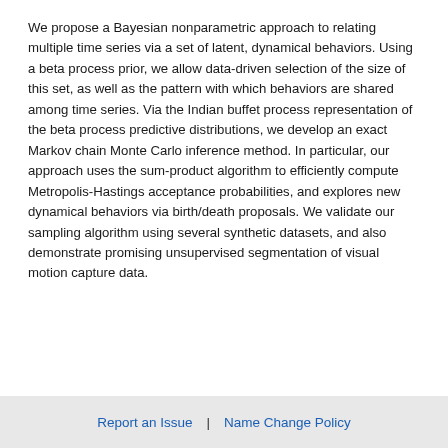We propose a Bayesian nonparametric approach to relating multiple time series via a set of latent, dynamical behaviors. Using a beta process prior, we allow data-driven selection of the size of this set, as well as the pattern with which behaviors are shared among time series. Via the Indian buffet process representation of the beta process predictive distributions, we develop an exact Markov chain Monte Carlo inference method. In particular, our approach uses the sum-product algorithm to efficiently compute Metropolis-Hastings acceptance probabilities, and explores new dynamical behaviors via birth/death proposals. We validate our sampling algorithm using several synthetic datasets, and also demonstrate promising unsupervised segmentation of visual motion capture data.
Report an Issue  |  Name Change Policy